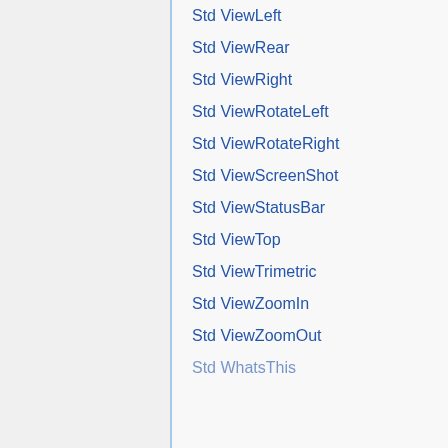Std ViewLeft
Std ViewRear
Std ViewRight
Std ViewRotateLeft
Std ViewRotateRight
Std ViewScreenShot
Std ViewStatusBar
Std ViewTop
Std ViewTrimetric
Std ViewZoomIn
Std ViewZoomOut
Std WhatsThis